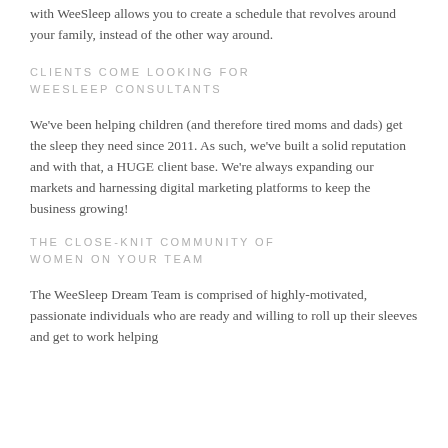with WeeSleep allows you to create a schedule that revolves around your family, instead of the other way around.
CLIENTS COME LOOKING FOR WEESLEEP CONSULTANTS
We've been helping children (and therefore tired moms and dads) get the sleep they need since 2011. As such, we've built a solid reputation and with that, a HUGE client base. We're always expanding our markets and harnessing digital marketing platforms to keep the business growing!
THE CLOSE-KNIT COMMUNITY OF WOMEN ON YOUR TEAM
The WeeSleep Dream Team is comprised of highly-motivated, passionate individuals who are ready and willing to roll up their sleeves and get to work helping